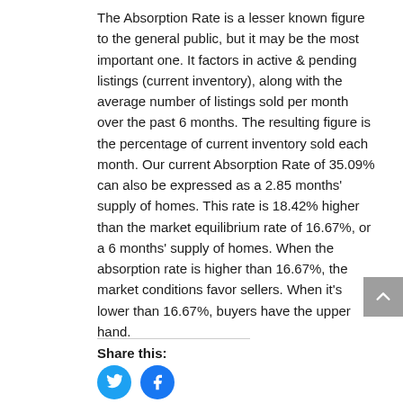The Absorption Rate is a lesser known figure to the general public, but it may be the most important one. It factors in active & pending listings (current inventory), along with the average number of listings sold per month over the past 6 months. The resulting figure is the percentage of current inventory sold each month. Our current Absorption Rate of 35.09% can also be expressed as a 2.85 months' supply of homes. This rate is 18.42% higher than the market equilibrium rate of 16.67%, or a 6 months' supply of homes. When the absorption rate is higher than 16.67%, the market conditions favor sellers. When it's lower than 16.67%, buyers have the upper hand.
Share this: